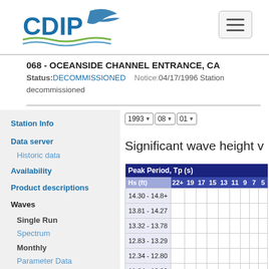[Figure (logo): CDIP logo with bird and wave]
068 - OCEANSIDE CHANNEL ENTRANCE, CA
Status: DECOMMISSIONED   Notice:04/17/1996 Station decommissioned
Station Info
Data server
Historic data
Availability
Product descriptions
Waves
Single Run
Spectrum
Monthly
Parameter Data
Significant wave height v
| Hs (ft) | 22+ | 19 | 17 | 15 | 13 | 11 | 9 | 7 | 5 |
| --- | --- | --- | --- | --- | --- | --- | --- | --- | --- |
| 14.30 - 14.8+ |  |  |  |  |  |  |  |  |  |
| 13.81 - 14.27 |  |  |  |  |  |  |  |  |  |
| 13.32 - 13.78 |  |  |  |  |  |  |  |  |  |
| 12.83 - 13.29 |  |  |  |  |  |  |  |  |  |
| 12.34 - 12.80 |  |  |  |  |  |  |  |  |  |
| 11.84 - 12.30 |  |  |  |  |  |  |  |  |  |
| 11.35 - 11.81 |  |  |  |  |  |  |  |  |  |
| 10.86 - 11.32 |  |  |  |  |  |  |  |  |  |
| 10.37 - 10.83 |  |  |  |  |  |  |  |  |  |